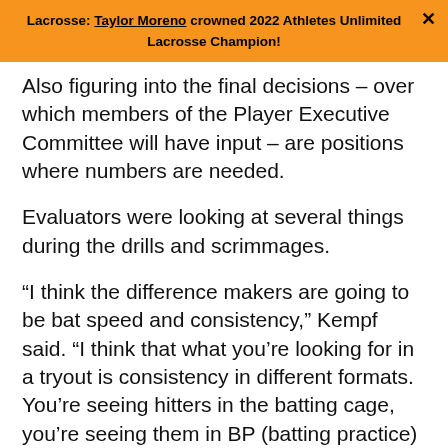Lacrosse: Taylor Moreno crowned 2022 Athletes Unlimited Lacrosse Champion!
Also figuring into the final decisions – over which members of the Player Executive Committee will have input – are positions where numbers are needed.
Evaluators were looking at several things during the drills and scrimmages.
“I think the difference makers are going to be bat speed and consistency,” Kempf said. “I think that what you’re looking for in a tryout is consistency in different formats. You’re seeing hitters in the batting cage, you’re seeing them in BP (batting practice) and you’re going to see them live to show you a really good sampling of what they’re capable of.
“A lot of times, it’s just like any other sport. Typically